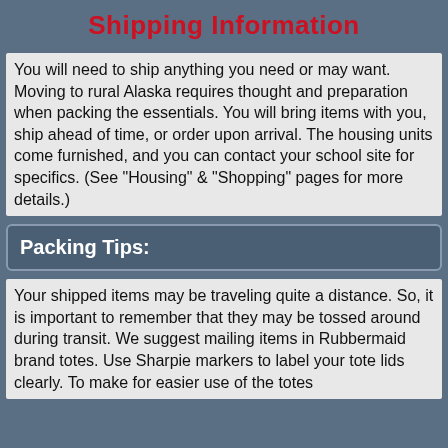Shipping Information
You will need to ship anything you need or may want.  Moving to rural Alaska requires thought and preparation when packing the essentials.  You will bring items with you, ship ahead of time, or order upon arrival.  The housing units come furnished, and you can contact your school site for specifics.  (See "Housing" & "Shopping" pages for more details.)
Packing Tips:
Your shipped items may be traveling quite a distance.  So, it is important to remember that they may be tossed around during transit.  We suggest mailing items in Rubbermaid brand totes.  Use Sharpie markers to label your tote lids clearly.  To make for easier use of the totes